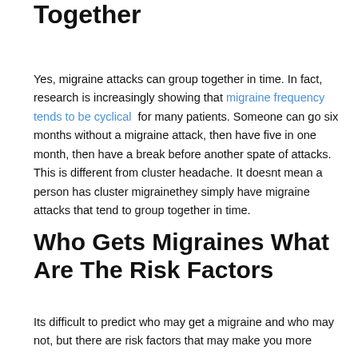Together
Yes, migraine attacks can group together in time. In fact, research is increasingly showing that migraine frequency tends to be cyclical for many patients. Someone can go six months without a migraine attack, then have five in one month, then have a break before another spate of attacks. This is different from cluster headache. It doesnt mean a person has cluster migrainethey simply have migraine attacks that tend to group together in time.
Who Gets Migraines What Are The Risk Factors
Its difficult to predict who may get a migraine and who may not, but there are risk factors that may make you more